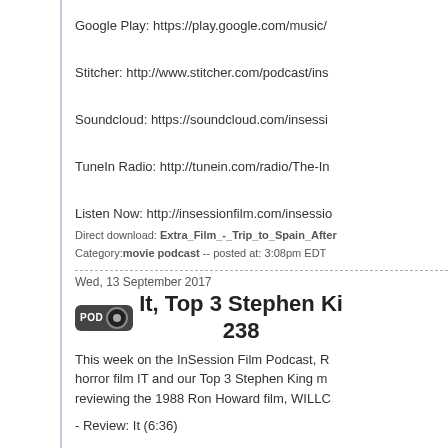Google Play: https://play.google.com/music/
Stitcher: http://www.stitcher.com/podcast/ins
Soundcloud: https://soundcloud.com/insessi
TuneIn Radio: http://tunein.com/radio/The-In
Listen Now: http://insessionfilm.com/insessio
Direct download: Extra_Film_-_Trip_to_Spain_After  Category: movie podcast -- posted at: 3:08pm EDT
Wed, 13 September 2017
It, Top 3 Stephen Ki... 238
This week on the InSession Film Podcast, R... horror film IT and our Top 3 Stephen King m... reviewing the 1988 Ron Howard film, WILLC
- Review: It (6:36)